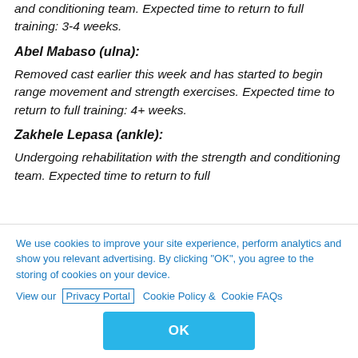and conditioning team. Expected time to return to full training: 3-4 weeks.
Abel Mabaso (ulna):
Removed cast earlier this week and has started to begin range movement and strength exercises. Expected time to return to full training: 4+ weeks.
Zakhele Lepasa (ankle):
Undergoing rehabilitation with the strength and conditioning team. Expected time to return to full...
We use cookies to improve your site experience, perform analytics and show you relevant advertising. By clicking "OK", you agree to the storing of cookies on your device. View our Privacy Portal  Cookie Policy &  Cookie FAQs